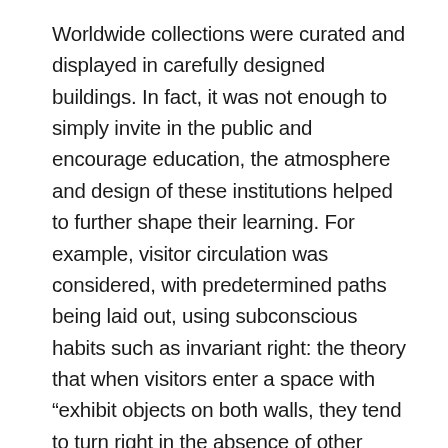Worldwide collections were curated and displayed in carefully designed buildings. In fact, it was not enough to simply invite in the public and encourage education, the atmosphere and design of these institutions helped to further shape their learning. For example, visitor circulation was considered, with predetermined paths being laid out, using subconscious habits such as invariant right: the theory that when visitors enter a space with “exhibit objects on both walls, they tend to turn right in the absence of other stronger attracting cues” (Whitlow, n.d.). In addition, the panopticon effect was often utilised on split-level viewing platforms, making visitors feel almost as deliberately surveyed as the exhibitions themselves. In theory, this social conditioning and a culture of surveillance was intended to “raise the levels of general education and culture” (Rodini, n.d.), by encouraging groups to conform to the rules and societal norms of the environment. Somewhat crassly put by the